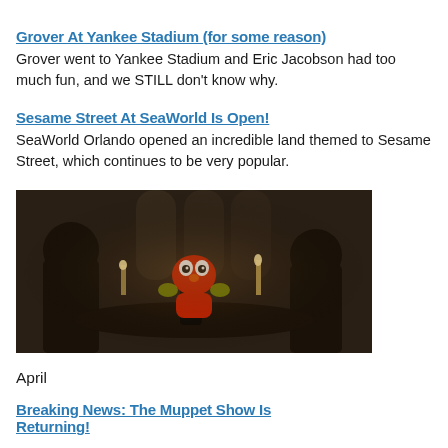Grover At Yankee Stadium (for some reason)
Grover went to Yankee Stadium and Eric Jacobson had too much fun, and we STILL don't know why.
Sesame Street At SeaWorld Is Open!
SeaWorld Orlando opened an incredible land themed to Sesame Street, which continues to be very popular.
[Figure (photo): Dark cinematic scene with three figures around a table — two people in dark armor-like costumes on either side, with a red Elmo muppet character in the center, set in a medieval-style hall with candles and arched windows.]
April
Breaking News: The Muppet Show Is Returning!